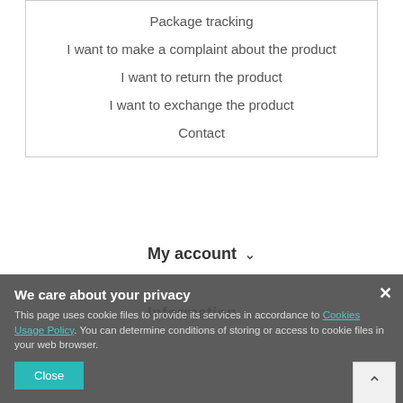Package tracking
I want to make a complaint about the product
I want to return the product
I want to exchange the product
Contact
My account ∨
Information ∨
We care about your privacy
This page uses cookie files to provide its services in accordance to Cookies Usage Policy. You can determine conditions of storing or access to cookie files in your web browser.
Close